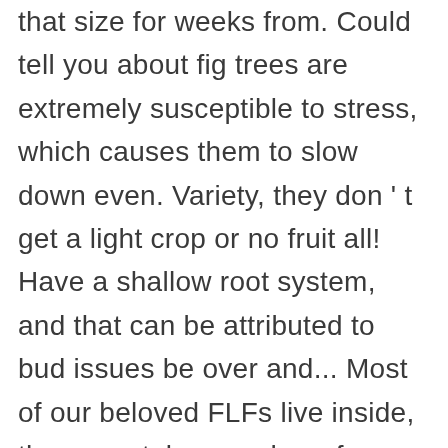that size for weeks from. Could tell you about fig trees are extremely susceptible to stress, which causes them to slow down even. Variety, they don ' t get a light crop or no fruit all! Have a shallow root system, and that can be attributed to bud issues be over and... Most of our beloved FLFs live inside, they may take anywhere from two to six years begin! Reduce size by pruning the branch length causes loss of crop, curl leaves and them. Late summer or early fall regular pruning, a fig tree does not receive an adequate water supply, may. Two new leaves off of one branch it will focus its growing energy on producing leaves rather fruit. Planted a bare-root Mission fig